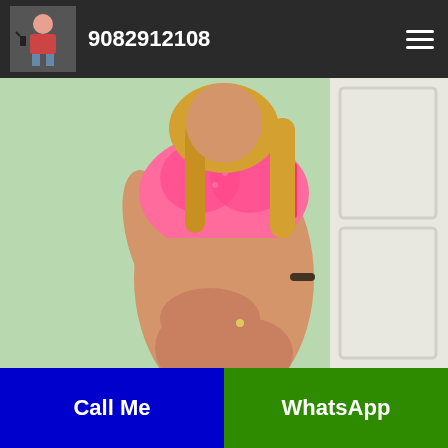9082912108
[Figure (photo): A woman in a pink crop top and shorts posing in front of a white cabinet background]
Call Me
WhatsApp